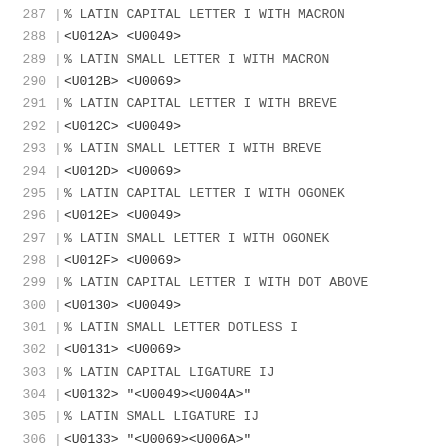287  % LATIN CAPITAL LETTER I WITH MACRON
288  <U012A> <U0049>
289  % LATIN SMALL LETTER I WITH MACRON
290  <U012B> <U0069>
291  % LATIN CAPITAL LETTER I WITH BREVE
292  <U012C> <U0049>
293  % LATIN SMALL LETTER I WITH BREVE
294  <U012D> <U0069>
295  % LATIN CAPITAL LETTER I WITH OGONEK
296  <U012E> <U0049>
297  % LATIN SMALL LETTER I WITH OGONEK
298  <U012F> <U0069>
299  % LATIN CAPITAL LETTER I WITH DOT ABOVE
300  <U0130> <U0049>
301  % LATIN SMALL LETTER DOTLESS I
302  <U0131> <U0069>
303  % LATIN CAPITAL LIGATURE IJ
304  <U0132> "<U0049><U004A>"
305  % LATIN SMALL LIGATURE IJ
306  <U0133> "<U0069><U006A>"
307  % LATIN CAPITAL LETTER J WITH CIRCUMFLEX
308  <U0134> "<U004A><U0068>";<U004A>
309  % LATIN SMALL LETTER J WITH CIRCUMFLEX
310  <U0135> "<U006A><U0068>";<U006A>
311  % LATIN CAPITAL LETTER K WITH CEDILLA
312  <U0136> <U004B>
313  % LATIN SMALL LETTER K WITH CEDILLA
314  <U0137> <U006B>
315  % LATIN SMALL LETTER KRA
316  <U0138> <U006B>